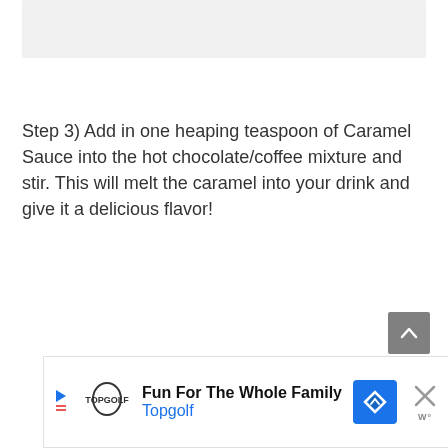[Figure (photo): Partial image placeholder at top of page, light gray background]
Step 3) Add in one heaping teaspoon of Caramel Sauce into the hot chocolate/coffee mixture and stir. This will melt the caramel into your drink and give it a delicious flavor!
[Figure (other): Gray scroll-to-top button with upward chevron arrow]
[Figure (other): Advertisement banner: Fun For The Whole Family - Topgolf, with Topgolf logo, navigation arrow icon, and close button]